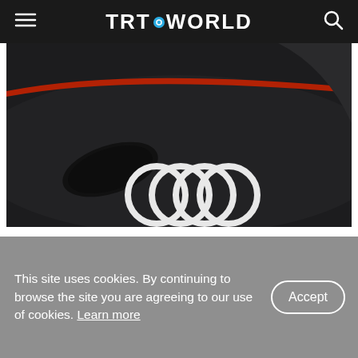TRT WORLD
[Figure (photo): Close-up of a dark Audi race car body showing the four-ring Audi logo in white on the car's surface, with a red accent stripe visible on the edge.]
Audi to enter Formula 1 in 2026 as power unit manufacturer
This site uses cookies. By continuing to browse the site you are agreeing to our use of cookies. Learn more